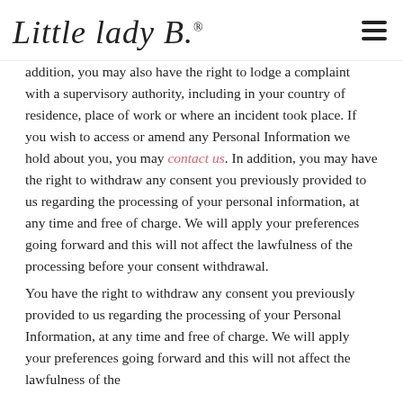Little Lady B.®
addition, you may also have the right to lodge a complaint with a supervisory authority, including in your country of residence, place of work or where an incident took place. If you wish to access or amend any Personal Information we hold about you, you may contact us. In addition, you may have the right to withdraw any consent you previously provided to us regarding the processing of your personal information, at any time and free of charge. We will apply your preferences going forward and this will not affect the lawfulness of the processing before your consent withdrawal.
You have the right to withdraw any consent you previously provided to us regarding the processing of your Personal Information, at any time and free of charge. We will apply your preferences going forward and this will not affect the lawfulness of the